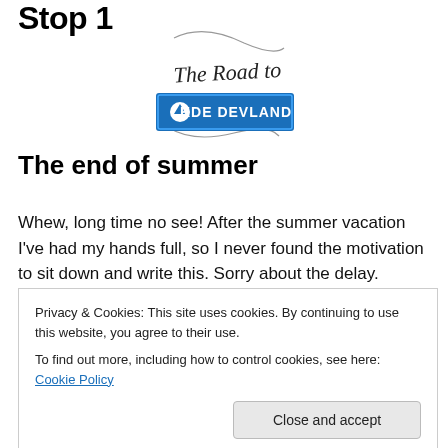Stop 1
[Figure (illustration): Decorative logo: cursive 'The Road to' text above a blue road sign reading 'KDE DEVLAND' with an upward arrow]
The end of summer
Whew, long time no see! After the summer vacation I've had my hands full, so I never found the motivation to sit down and write this. Sorry about the delay.
Privacy & Cookies: This site uses cookies. By continuing to use this website, you agree to their use.
To find out more, including how to control cookies, see here: Cookie Policy
Continue reading →